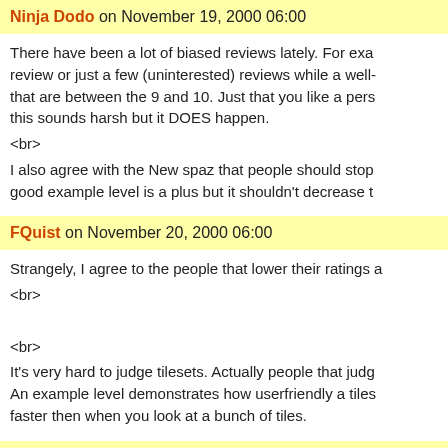Ninja Dodo on November 19, 2000 06:00
There have been a lot of biased reviews lately. For exa review or just a few (uninterested) reviews while a well- that are between the 9 and 10. Just that you like a pers this sounds harsh but it DOES happen.
<br>
I also agree with the New spaz that people should stop good example level is a plus but it shouldn't decrease t
FQuist on November 20, 2000 06:00
Strangely, I agree to the people that lower their ratings a
<br>

<br>
It's very hard to judge tilesets. Actually people that judg An example level demonstrates how userfriendly a tiles faster then when you look at a bunch of tiles.
Wakeman on November 20, 2000 06:00
I agree about the tilesets.. that's why I was usually prett